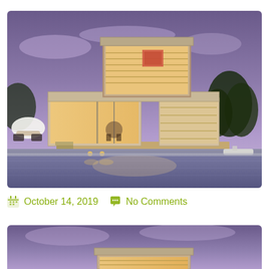[Figure (photo): Modern luxury house at dusk with illuminated interior visible through large glass windows and sliding doors, two-story cubic architecture, pool in foreground reflecting the warm interior lights, trees and purple twilight sky in background, outdoor lounge chairs on left side]
October 14, 2019   No Comments
[Figure (photo): Partial view of the same modern luxury house at dusk, cropped showing mainly the upper cubic portion with large glass windows and illuminated interior, purple sky background — bottom of page, cut off]